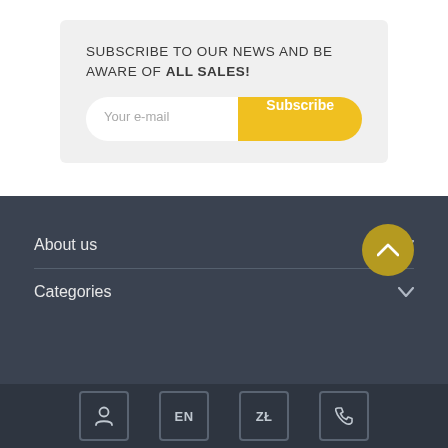SUBSCRIBE TO OUR NEWS AND BE AWARE OF ALL SALES!
Your e-mail
Subscribe
About us
Categories
User icon | EN | ZŁ | Phone icon